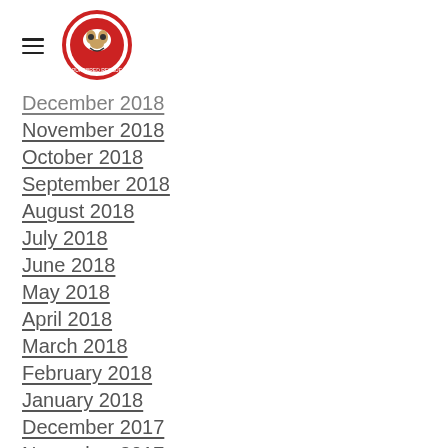[Logo and hamburger menu]
December 2018
November 2018
October 2018
September 2018
August 2018
July 2018
June 2018
May 2018
April 2018
March 2018
February 2018
January 2018
December 2017
November 2017
October 2017